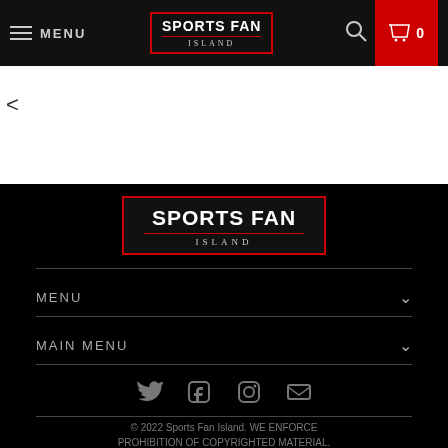MENU | SPORTS FAN ISLAND | 0
<
[Figure (logo): Sports Fan Island logo in red border box with white bold text on black background]
MENU
MAIN MENU
[Figure (infographic): Social media icons: Twitter, Facebook, Instagram, Email]
© 2022 Sports Fan Island. WE ENFORCE PROHIBITION OF COPYRIGHTED MATERIAL.